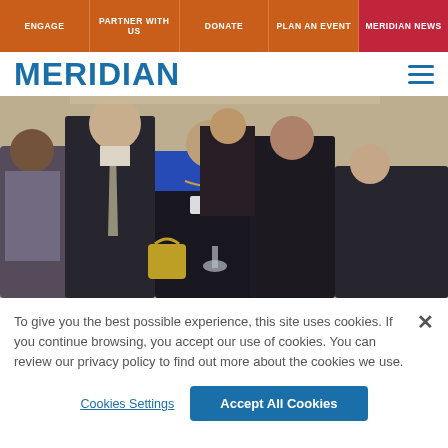ENGAGE | PARTNER WITH US | DONATE | PLAN AN EVENT | MERIDIAN NEWS
MERIDIAN
[Figure (photo): Group of people at a social/networking event, standing and smiling, some holding wine glasses, in formal attire]
To give you the best possible experience, this site uses cookies. If you continue browsing, you accept our use of cookies. You can review our privacy policy to find out more about the cookies we use.
Cookies Settings | Accept All Cookies